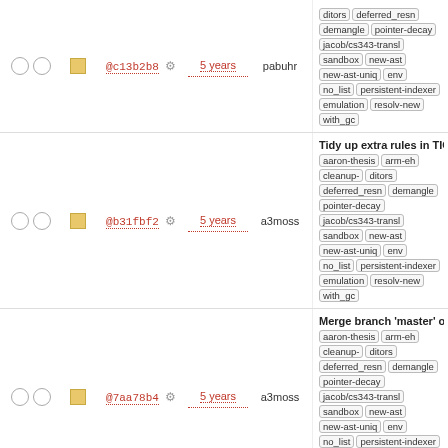| checks | sq | hash | age | author | info |
| --- | --- | --- | --- | --- | --- |
| ○ ○ | □ | @c13b2b8 | 5 years | pabuhr | ditors | deferred_resn | demangle | pointer-decay | jacob/cs343-transl | sandbox | new-ast | new-ast-uniq | env | no_list | persistent-indexer | emulation | resolv-new | with_gc |
| ○ ○ | □ | @b31fbf2 | 5 years | a3moss | Tidy up extra rules in TIOBE | aaron-thesis | arm-eh | cleanup- | ditors | deferred_resn | demangle | pointer-decay | jacob/cs343-transl | sandbox | new-ast | new-ast-uniq | env | no_list | persistent-indexer | emulation | resolv-new | with_gc |
| ○ ○ | □ | @7aa78b4 | 5 years | a3moss | Merge branch 'master' of plg.uwaterloo.ca:software/c | aaron-thesis | arm-eh | cleanup- | ditors | deferred_resn | demangle | pointer-decay | jacob/cs343-transl | sandbox | new-ast | new-ast-uniq | env | no_list | persistent-indexer | emulation | resolv-new | with_gc |
| ○ ○ | □ | @2b8a897 | 5 years | a3moss | Final tweaks to the evaluation from Aaron | aaron-thesis | arm- | ditors | deferred_resn | demangle | pointer-decay | jacob/cs343-transl | sandbox | new-ast | new-ast-uniq | env | no_list | persistent-indexer | emulation | resolv-new | with_gc |
| ○ ○ | □ | @e2ef6bf | 5 years | pabuhr | remove folded examples | a- | thesis | arm-eh | cleanup- | ditors | deferred_resn | demangle | pointer-decay | jacob/cs343-transl | sandbox | new-ast | new-ast-uniq | env | no_list | persistent-indexer | emulation | resolv-new | with_gc |